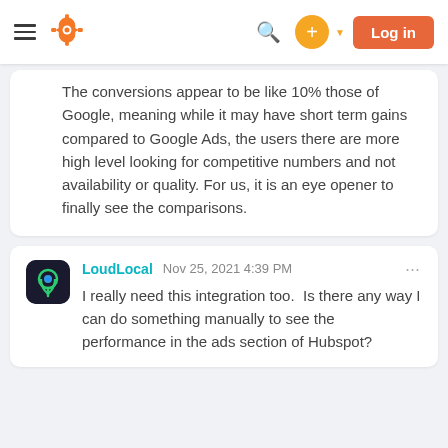HubSpot navigation bar with logo, search, plus button, and Log in button
The conversions appear to be like 10% those of Google, meaning while it may have short term gains compared to Google Ads, the users there are more high level looking for competitive numbers and not availability or quality. For us, it is an eye opener to finally see the comparisons.
LoudLocal  Nov 25, 2021 4:39 PM  ...  I really need this integration too.  Is there any way I can do something manually to see the performance in the ads section of Hubspot?